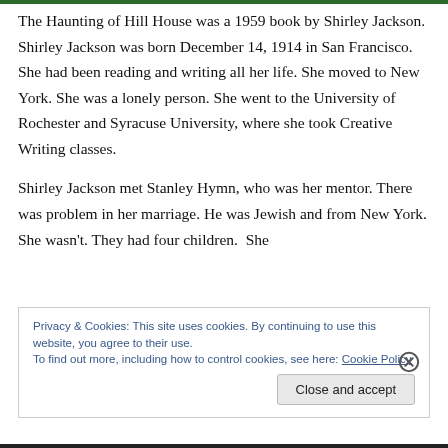The Haunting of Hill House was a 1959 book by Shirley Jackson. Shirley Jackson was born December 14, 1914 in San Francisco. She had been reading and writing all her life. She moved to New York. She was a lonely person. She went to the University of Rochester and Syracuse University, where she took Creative Writing classes.
Shirley Jackson met Stanley Hymn, who was her mentor. There was problem in her marriage. He was Jewish and from New York. She wasn't. They had four children.  She
Privacy & Cookies: This site uses cookies. By continuing to use this website, you agree to their use.
To find out more, including how to control cookies, see here: Cookie Policy